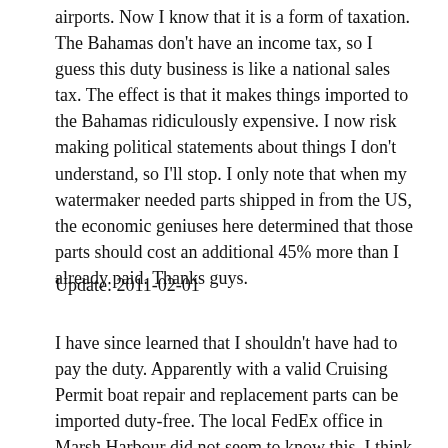airports.  Now I know that it is a form of taxation.  The Bahamas don't have an income tax, so I guess this duty business is like a national sales tax.  The effect is that it makes things imported to the Bahamas ridiculously expensive.  I now risk making political statements about things I don't understand, so I'll stop.  I only note that when my watermaker needed parts shipped in from the US, the economic geniuses here determined that those parts should cost an additional 45% more than I already paid.  Thanks guys.
Update: 2011-02-01
I have since learned that I shouldn't have had to pay the duty.  Apparently with a valid Cruising Permit boat repair and replacement parts can be imported duty-free.  The local FedEx office in Marsh Harbour did not seem to know this.  I think what I should have done is instructed the sender put "boat parts" on the invoice and include a copy of my Cruising